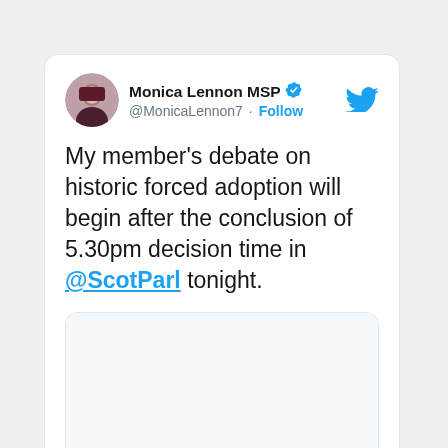[Figure (screenshot): Tweet by Monica Lennon MSP (@MonicaLennon7) with verified badge. Tweet text: 'My member's debate on historic forced adoption will begin after the conclusion of 5.30pm decision time in @ScotParl tonight.' Includes an embedded link preview card from thecourier.co.uk with partial headline visible.]